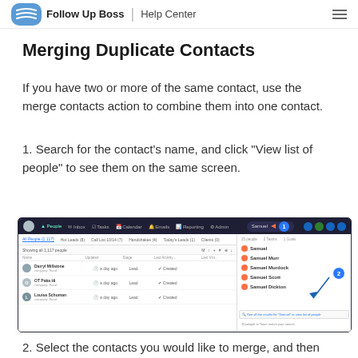Follow Up Boss | Help Center
Merging Duplicate Contacts
If you have two or more of the same contact, use the merge contacts action to combine them into one contact.
1. Search for the contact's name, and click "View list of people" to see them on the same screen.
[Figure (screenshot): Screenshot of Follow Up Boss CRM interface showing search results for 'Samuel' with a list of contacts including Samuel, Samuel Murr, Samuel Murdock, Samuel Scott, Samuel Dickton, and a 'View list of people' link at the bottom. Numbered callouts (1 and 2) highlight the search input and the view list link.]
2. Select the contacts you would like to merge, and then